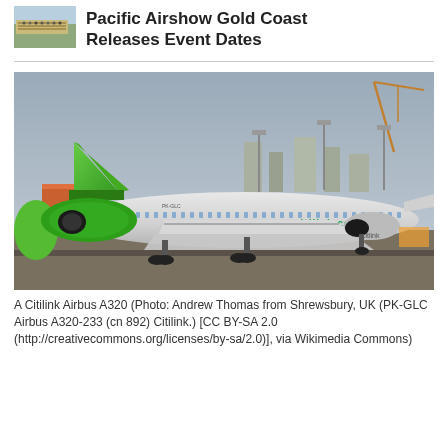[Figure (photo): Thumbnail image of an airshow event with crowd and stands visible from above]
Pacific Airshow Gold Coast Releases Event Dates
[Figure (photo): A Citilink Airbus A320 with green tail and white fuselage taxiing on airport runway, industrial buildings and crane visible in background]
A Citilink Airbus A320 (Photo: Andrew Thomas from Shrewsbury, UK (PK-GLC Airbus A320-233 (cn 892) Citilink.) [CC BY-SA 2.0 (http://creativecommons.org/licenses/by-sa/2.0)], via Wikimedia Commons)